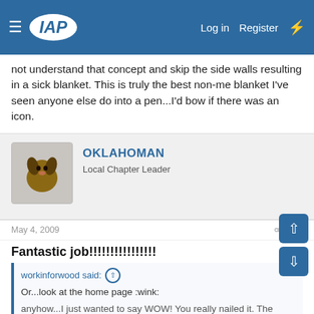IAP — Log in | Register
not understand that concept and skip the side walls resulting in a sick blanket. This is truly the best non-me blanket I've seen anyone else do into a pen...I'd bow if there was an icon.
OKLAHOMAN
Local Chapter Leader
May 4, 2009  #9
Fantastic job!!!!!!!!!!!!!!!!
workinforwood said:
Or...look at the home page :wink:
anyhow...I just wanted to say WOW! You really nailed it. The proportions look perfect and you nailed 8 strips into a little Baron kit. Most people have not tried, but it is really simple in concept but not easy to pull off. Purpleheart adds to the difficulty due to it's harness. You lose a ton of wood in saw dust, but it's worth it. I see you paid attention and kept to your solid purple sides, that is...
Click to expand...